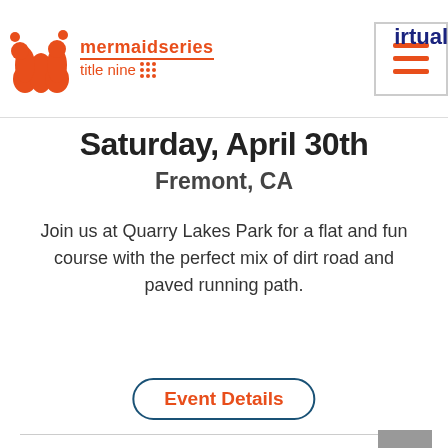mermaid series title nine — navigation header with hamburger menu and virtual label
Saturday, April 30th
Fremont, CA
Join us at Quarry Lakes Park for a flat and fun course with the perfect mix of dirt road and paved running path.
Event Details
[Figure (other): Light blue content banner area]
Social media icons: Facebook, Twitter, Google+, YouTube, Pinterest, Instagram